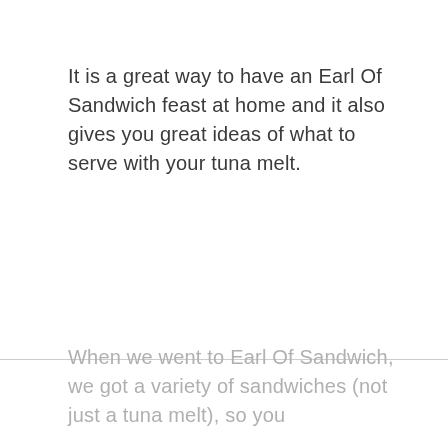It is a great way to have an Earl Of Sandwich feast at home and it also gives you great ideas of what to serve with your tuna melt.
When we went to Earl Of Sandwich, we got a variety of sandwiches (not just a tuna melt), so you